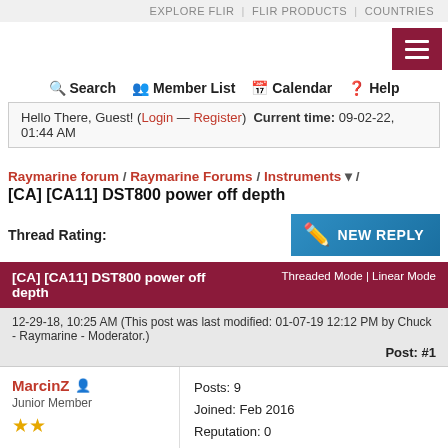EXPLORE FLIR  |  FLIR PRODUCTS  |  COUNTRIES
[Figure (other): Hamburger menu button (three horizontal white lines on dark red background)]
Search  Member List  Calendar  Help
Hello There, Guest! (Login — Register)  Current time: 09-02-22, 01:44 AM
Raymarine forum / Raymarine Forums / Instruments / [CA] [CA11] DST800 power off depth
Thread Rating:
[Figure (other): New Reply button (blue button with pencil icon and text NEW REPLY)]
[CA] [CA11] DST800 power off depth  Threaded Mode | Linear Mode
12-29-18, 10:25 AM (This post was last modified: 01-07-19 12:12 PM by Chuck - Raymarine - Moderator.)
Post: #1
MarcinZ
Junior Member
Posts: 9
Joined: Feb 2016
Reputation: 0
[CA11] DST800 power off depth